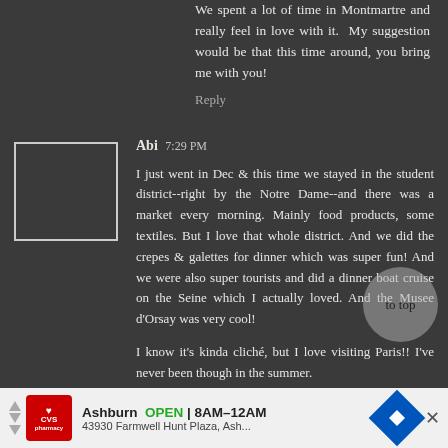We spent a lot of time in Montmartre and really feel in love with it.  My suggestion would be that this time around, you bring me with you!
Reply
Abi 7:29 PM
I just went in Dec & this time we stayed in the student district--right by the Notre Dame--and there was a market every morning. Mainly food products, some textiles. But I love that whole district. And we did the crepes & galettes for dinner which was super fun! And we were also super tourists and did a dinner boat cruise on the Seine which I actually loved. And the Musee d'Orsay was very cool!
I know it's kinda cliché, but I love visiting Paris!! I've never been though in the summer.
[Figure (other): Advertisement bar: CVS Pharmacy logo, Ashburn OPEN 8AM-12AM, 43930 Farmwell Hunt Plaza, Ash..., navigation icon, close button]